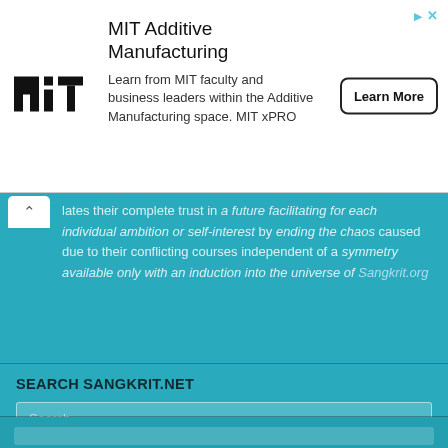[Figure (screenshot): MIT Additive Manufacturing advertisement banner with MIT logo, description text, and Learn More button]
lates their complete trust in a future facilitating for each individual ambition or self-interest by ending the chaos caused due to their conflicting courses independent of a symmetry available only with an induction into the universe of Sangkrit.org
SEARCH SANGKRIT.NET